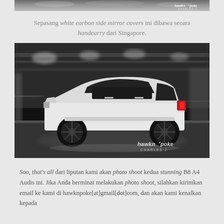[Figure (photo): Top strip of a car photo, partially cropped, with hawknpoke Charles J watermark in bottom right]
Sepasang white carbon side mirror covers ini dibawa secara handcarry dari Singapore.
[Figure (photo): Black and white motion-blur photo of a white Audi B8 A4 sedan driving through a parking garage, red tail lights visible, hawknpoke Charles J watermark in bottom right]
Soo, that's all dari liputan kami akan photo shoot kedua stunning B8 A4 Audis ini. Jika Anda berminat melakukan photo shoot, silahkan kirimkan email ke kami di hawknpoke[at]gmail[dot]com, dan akan kami kenalkan kepada